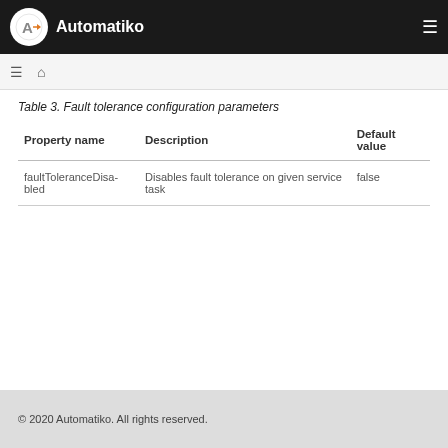Automatiko
Table 3. Fault tolerance configuration parameters
| Property name | Description | Default value |
| --- | --- | --- |
| faultToleranceDisabled | Disables fault tolerance on given service task | false |
© 2020 Automatiko. All rights reserved.